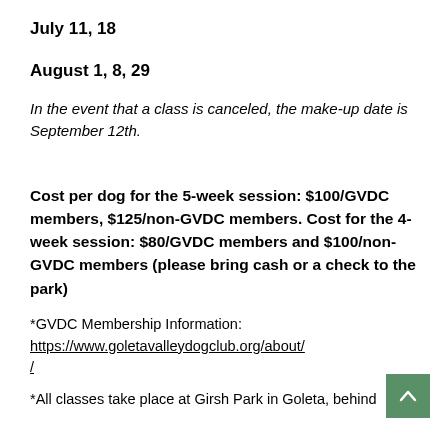July 11, 18
August 1, 8, 29
In the event that a class is canceled, the make-up date is September 12th.
Cost per dog for the 5-week session: $100/GVDC members, $125/non-GVDC members. Cost for the 4-week session: $80/GVDC members and $100/non-GVDC members (please bring cash or a check to the park)
*GVDC Membership Information: https://www.goletavalleydogclub.org/about/
*All classes take place at Girsh Park in Goleta, behind